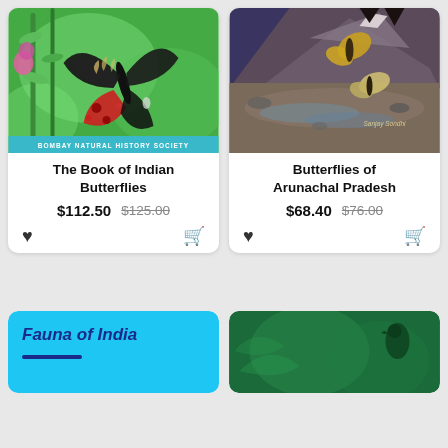[Figure (photo): Book cover: The Book of Indian Butterflies - shows a black butterfly with red markings on green plant background, with 'Bombay Natural History Society' text at bottom]
The Book of Indian Butterflies
$112.50  $125.00
[Figure (photo): Book cover: Butterflies of Arunachal Pradesh - shows butterflies against a mountain/rocky river landscape, with 'Sanjay Sondhi' text]
Butterflies of Arunachal Pradesh
$68.40  $76.00
[Figure (photo): Partial book cover: Fauna of India - blue background with italic dark blue title text]
[Figure (photo): Partial book cover - green background with bird silhouette]